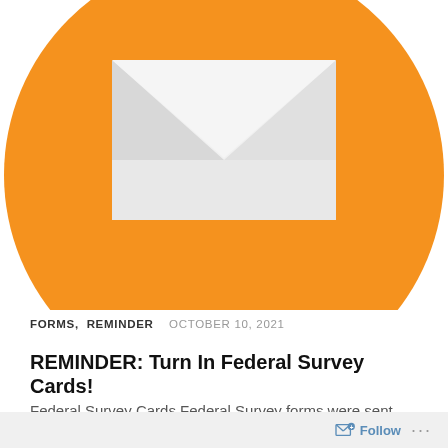[Figure (illustration): Orange circle with white envelope icon in the center. The envelope shows a white rectangular body with a V-shaped flap open at the top, creating a mail/reminder visual on an orange background circle.]
FORMS, REMINDER   OCTOBER 10, 2021
REMINDER: Turn In Federal Survey Cards!
Federal Survey Cards Federal Survey forms were sent home last week Thursday and Friday during 3rd Period